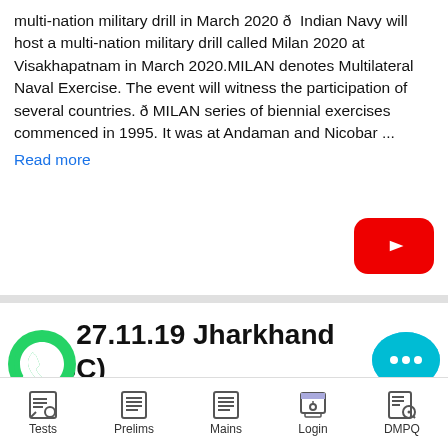multi-nation military drill in March 2020 ð  Indian Navy will host a multi-nation military drill called Milan 2020 at Visakhapatnam in March 2020.MILAN denotes Multilateral Naval Exercise. The event will witness the participation of several countries. ð MILAN series of biennial exercises commenced in 1995. It was at Andaman and Nicobar ...
Read more
[Figure (logo): YouTube play button red logo]
27.11.19 Jharkhand (JPSC) Daily Current Affairs
[Figure (logo): WhatsApp green circle icon]
[Figure (logo): Chat bubble icon with three dots]
Tests  Prelims  Mains  Login  DMPQ